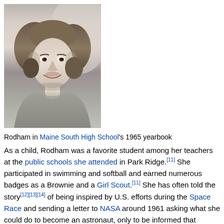[Figure (photo): Black and white yearbook portrait photograph of young Hillary Rodham, smiling, with styled hair, wearing a sweater. From Maine South High School's 1965 yearbook.]
Rodham in Maine South High School's 1965 yearbook
As a child, Rodham was a favorite student among her teachers at the public schools she attended in Park Ridge.[11] She participated in swimming and softball and earned numerous badges as a Brownie and a Girl Scout.[11] She has often told the story[12][13][14] of being inspired by U.S. efforts during the Space Race and sending a letter to NASA around 1961 asking what she could do to become an astronaut, only to be informed that women were not being accepted into the program.[15] She attended Maine East High School, where she